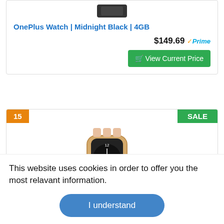[Figure (photo): Small black smartwatch image at top of product card]
OnePlus Watch | Midnight Black | 4GB
$149.69 ✓Prime
🛒 View Current Price
15
SALE
[Figure (photo): Gold smartwatch with pink/gold leather band shown at an angle]
This website uses cookies in order to offer you the most relavant information.
I understand